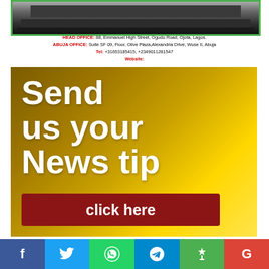[Figure (photo): Shelf/rack product image with green border]
HEAD OFFICE: 88, Emmanuel High Street, Ogudu Road, Ojota, Lagos. ABUJA OFFICE: Suite SF 09, Floor, Olive Plaza, Alexandria Drive, Wuse II, Abuja Tel: +31653185415, +2349011281547 Website:
[Figure (infographic): Send us your News tip banner with golden gradient background, large white bold text, and a dark red click here button]
[Figure (infographic): Social media sharing bar with Facebook, Twitter, WhatsApp, Telegram, another icon, and Google icons]